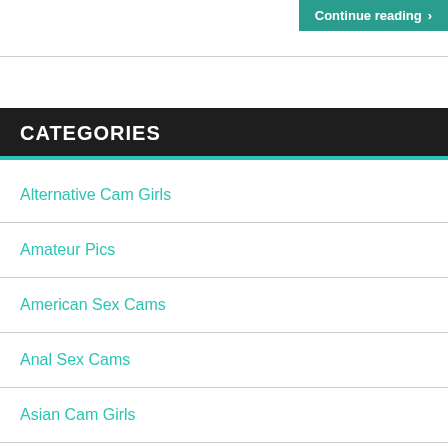Continue reading >
CATEGORIES
Alternative Cam Girls
Amateur Pics
American Sex Cams
Anal Sex Cams
Asian Cam Girls
Aussie Cam Girls
BBW Cam Girls